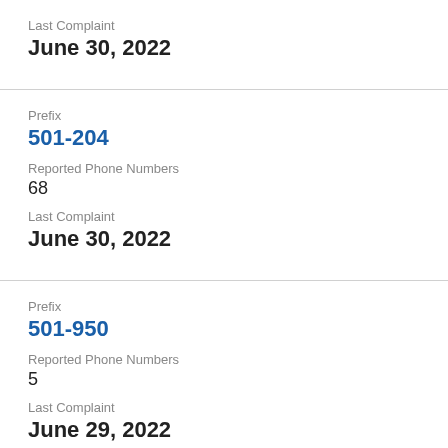Last Complaint
June 30, 2022
Prefix
501-204
Reported Phone Numbers
68
Last Complaint
June 30, 2022
Prefix
501-950
Reported Phone Numbers
5
Last Complaint
June 29, 2022